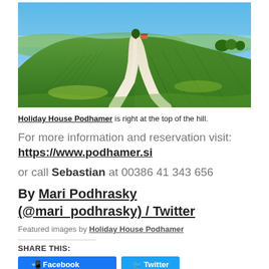[Figure (photo): Landscape photo of green vineyard hills with a winding white gravel road leading to a house at the top of the hill, under a clear blue sky.]
Holiday House Podhamer is right at the top of the hill.
For more information and reservation visit: https://www.podhamer.si
or call Sebastian at 00386 41 343 656
By Mari Podhrasky (@mari_podhrasky) / Twitter
Featured images by Holiday House Podhamer
SHARE THIS: